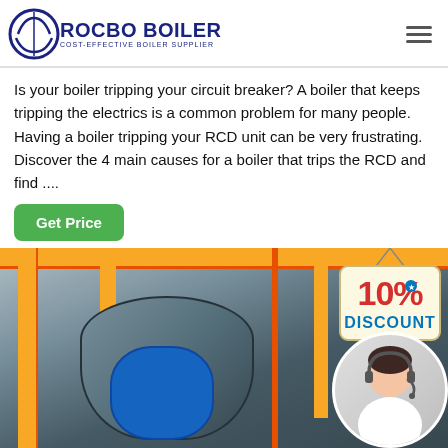ROCBO BOILER - COST-EFFECTIVE BOILER SUPPLIER
Is your boiler tripping your circuit breaker? A boiler that keeps tripping the electrics is a common problem for many people. Having a boiler tripping your RCD unit can be very frustrating. Discover the 4 main causes for a boiler that trips the RCD and find ....
Get Price
[Figure (photo): Industrial boiler room with yellow overhead pipes, a large cylindrical boiler drum with blue front panel, orange vertical pipe, 10% discount badge hanging sign, and customer service representative circle overlay]